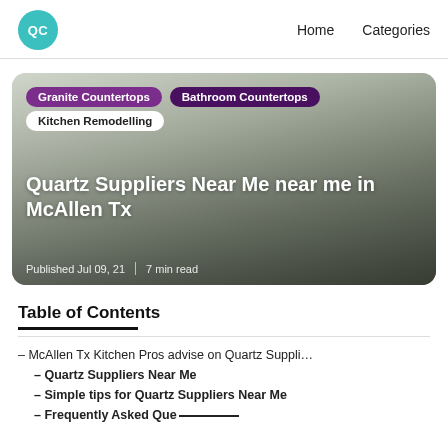QC | Home | Categories
[Figure (photo): Kitchen countertop hero image with category tags: Granite Countertops, Bathroom Countertops, Kitchen Remodelling. Title: Quartz Suppliers Near Me near me in McAllen Tx. Published Jul 09, 21 | 7 min read]
Table of Contents
– McAllen Tx Kitchen Pros advise on Quartz Suppli…
– Quartz Suppliers Near Me
– Simple tips for Quartz Suppliers Near Me
– Frequently Asked Questions…